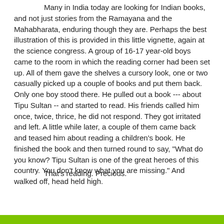Many in India today are looking for Indian books, and not just stories from the Ramayana and the Mahabharata, enduring though they are. Perhaps the best illustration of this is provided in this little vignette, again at the science congress. A group of 16-17 year-old boys came to the room in which the reading corner had been set up. All of them gave the shelves a cursory look, one or two casually picked up a couple of books and put them back. Only one boy stood there. He pulled out a book --- about Tipu Sultan -- and started to read. His friends called him once, twice, thrice, he did not respond. They got irritated and left. A little while later, a couple of them came back and teased him about reading a children's book. He finished the book and then turned round to say, "What do you know? Tipu Sultan is one of the great heroes of this country. You don't know what you are missing." And walked off, head held high.
That's reading. Precious.